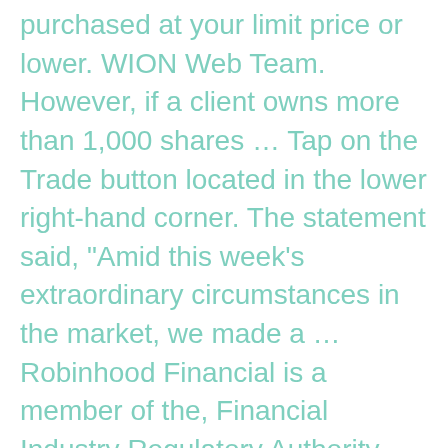purchased at your limit price or lower. WION Web Team. However, if a client owns more than 1,000 shares … Tap on the Trade button located in the lower right-hand corner. The statement said, "Amid this week's extraordinary circumstances in the market, we made a … Robinhood Financial is a member of the, Financial Industry Regulatory Authority (FINRA). With a buy limit order, a stock is purchased at your limit price or lower. Learn more by checking out our Help Center article on order rejections. Robinhood's fee-free … Before making decisions with legal, tax, or accounting effects, you should consult appropriate professionals. Robinhood Crypto, LLC provides crypto currency trading. Robinhood moved to restrict users from hastily buying cryptocurrencies Friday as the prices of two popular digital coins surged. GAMESTOP'S stock price surged 103 percent as the Robinhood app is set to lift restrictions after limiting buying following a Reddit rally